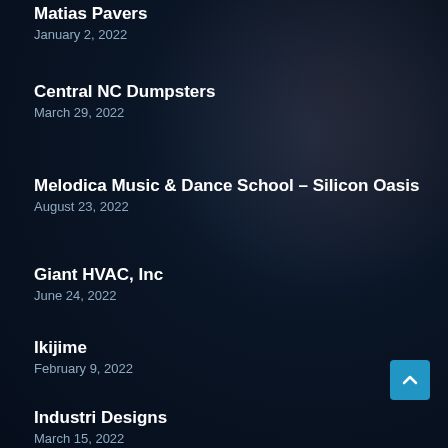Matias Pavers
January 2, 2022
Central NC Dumpsters
March 29, 2022
Melodica Music & Dance School – Silicon Oasis
August 23, 2022
Giant HVAC, Inc
June 24, 2022
Ikijime
February 9, 2022
Industri Designs
March 15, 2022